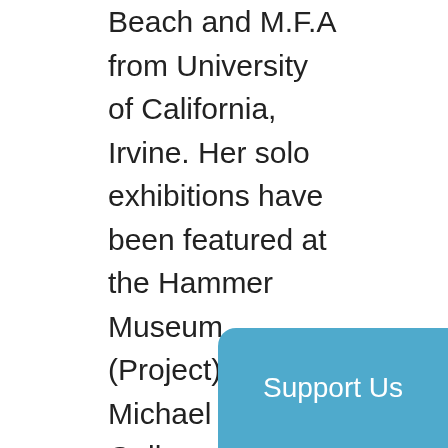Beach and M.F.A from University of California, Irvine. Her solo exhibitions have been featured at the Hammer Museum (Project), Michael Kohn Gallery, Baik Art in Los Angeles, 10 Chancery Lane Gallery, Hong Kong; Pataphysical Society PDX, Portland, Oregon and Galerie Quynh, Vietnam. Learn more at www.christinenguyen.art/
About Viet Film Fest
Viet Film Fest was created in 2003 by the Vietnamese American Arts & Letters Association (VAALA), becoming a program. As the largest interna Vietnamese film festival of its k
[Figure (other): A teal/blue rounded rectangle button overlay with the text 'Support Us' in white.]